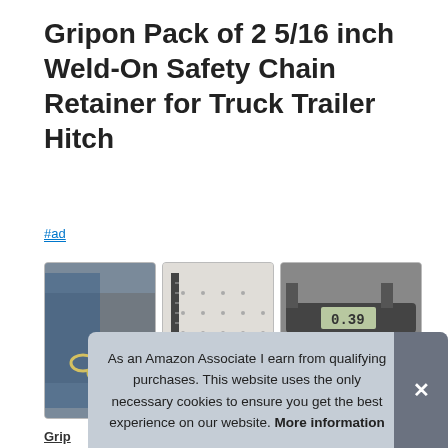Gripon Pack of 2 5/16 inch Weld-On Safety Chain Retainer for Truck Trailer Hitch
#ad
[Figure (photo): Close-up photo of a weld-on safety chain retainer hook attached to a blue metal surface with a chain link visible]
[Figure (photo): Safety chain retainer hook shown next to an L-shaped metal ruler/square on a dotted surface]
[Figure (photo): Digital caliper measuring a safety chain retainer hook, displaying 0.39 on the screen]
Gripon
weld
forg
removable zinc-plated clevis pin and cotter. This hook is
As an Amazon Associate I earn from qualifying purchases. This website uses the only necessary cookies to ensure you get the best experience on our website. More information